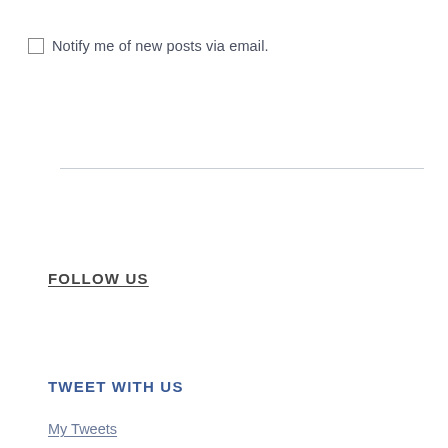Notify me of new posts via email.
FOLLOW US
TWEET WITH US
My Tweets